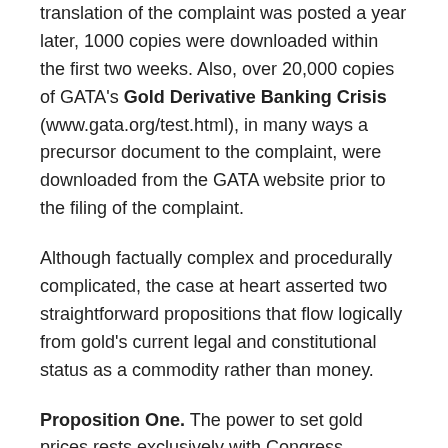translation of the complaint was posted a year later, 1000 copies were downloaded within the first two weeks. Also, over 20,000 copies of GATA's Gold Derivative Banking Crisis (www.gata.org/test.html), in many ways a precursor document to the complaint, were downloaded from the GATA website prior to the filing of the complaint.
Although factually complex and procedurally complicated, the case at heart asserted two straightforward propositions that flow logically from gold's current legal and constitutional status as a commodity rather than money.
Proposition One. The power to set gold prices rests exclusively with Congress. Because